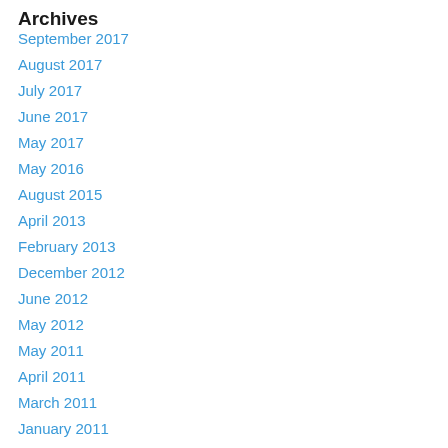Archives
September 2017
August 2017
July 2017
June 2017
May 2017
May 2016
August 2015
April 2013
February 2013
December 2012
June 2012
May 2012
May 2011
April 2011
March 2011
January 2011
December 2010
November 2010
September 2010